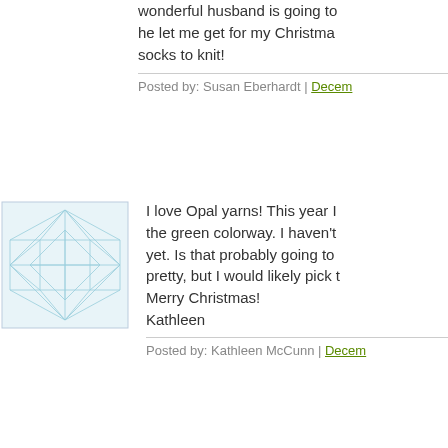wonderful husband is going to he let me get for my Christma socks to knit!
Posted by: Susan Eberhardt | Decem...
[Figure (illustration): Blue abstract geometric snowflake-like avatar icon]
I love Opal yarns! This year I the green colorway. I haven't yet. Is that probably going to pretty, but I would likely pick t Merry Christmas! Kathleen
Posted by: Kathleen McCunn | Decem...
[Figure (illustration): Blue curved wave lines avatar icon]
I love multicolored yarn and c hat made from self patterning #9221, I like the blues w/ a lit
Posted by: Barb | December 22, 201...
[Figure (illustration): Blue and purple abstract star/snowflake avatar icon]
I don't think I've used any sel